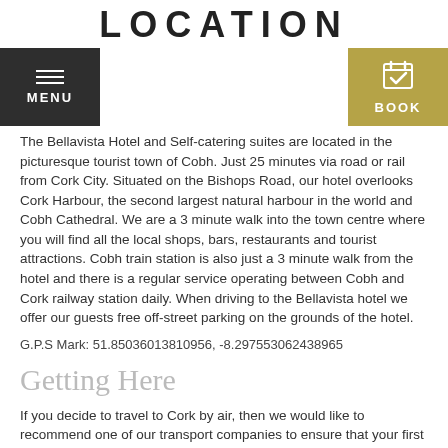LOCATION
[Figure (screenshot): Navigation bar with MENU button (dark) on left and BOOK button (gold) on right]
The Bellavista Hotel and Self-catering suites are located in the picturesque tourist town of Cobh. Just 25 minutes via road or rail from Cork City. Situated on the Bishops Road, our hotel overlooks Cork Harbour, the second largest natural harbour in the world and Cobh Cathedral. We are a 3 minute walk into the town centre where you will find all the local shops, bars, restaurants and tourist attractions. Cobh train station is also just a 3 minute walk from the hotel and there is a regular service operating between Cobh and Cork railway station daily. When driving to the Bellavista hotel we offer our guests free off-street parking on the grounds of the hotel.
G.P.S Mark: 51.85036013810956, -8.297553062438965
Getting Here
If you decide to travel to Cork by air, then we would like to recommend one of our transport companies to ensure that your first taste of Cork and Ireland is a positive one. All the transport